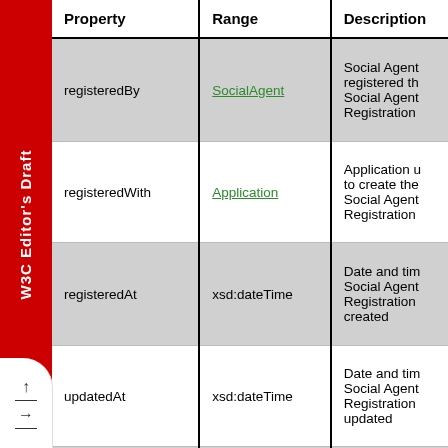| Property | Range | Description |
| --- | --- | --- |
| registeredBy | SocialAgent | Social Agent registered th... Social Agent Registration... |
| registeredWith | Application | Application u... to create the Social Agent Registration... |
| registeredAt | xsd:dateTime | Date and tim... Social Agent Registration... created |
| updatedAt | xsd:dateTime | Date and tim... Social Agent Registration... updated |
| registeredAgent | SocialAgent | The Social A... that was... |